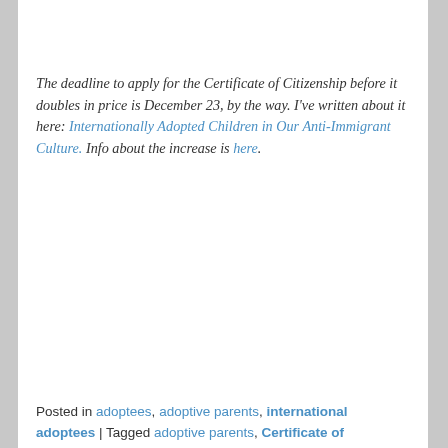The deadline to apply for the Certificate of Citizenship before it doubles in price is December 23, by the way. I've written about it here: Internationally Adopted Children in Our Anti-Immigrant Culture. Info about the increase is here.
Posted in adoptees, adoptive parents, international adoptees | Tagged adoptive parents, Certificate of Citizenship, international adoptees, ...